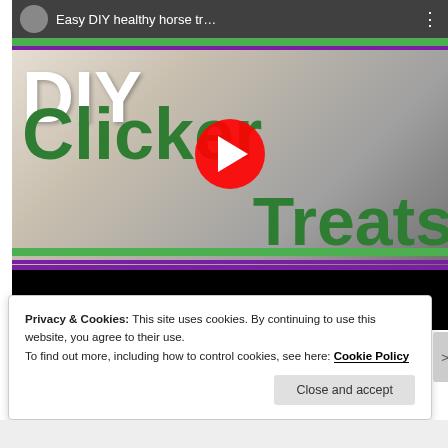[Figure (screenshot): YouTube video thumbnail showing 'Easy DIY healthy horse tr...' with DIY Clicker Treats text in green, a YouTube play button, hand holding horse treats, and a horse nose. Has green and purple stripe borders.]
Privacy & Cookies: This site uses cookies. By continuing to use this website, you agree to their use.
To find out more, including how to control cookies, see here: Cookie Policy
Close and accept